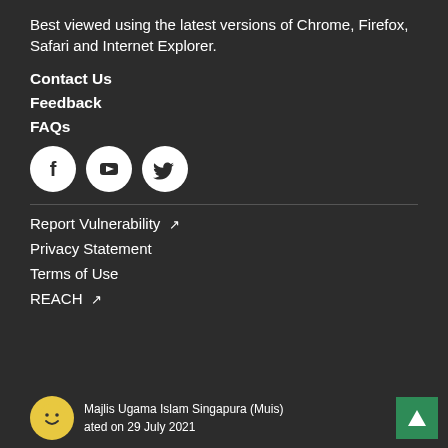Best viewed using the latest versions of Chrome, Firefox, Safari and Internet Explorer.
Contact Us
Feedback
FAQs
[Figure (illustration): Three social media icons in white circles on dark background: Facebook (f), YouTube (play button), Twitter (bird)]
Report Vulnerability ↗
Privacy Statement
Terms of Use
REACH ↗
Majlis Ugama Islam Singapura (Muis) ated on 29 July 2021